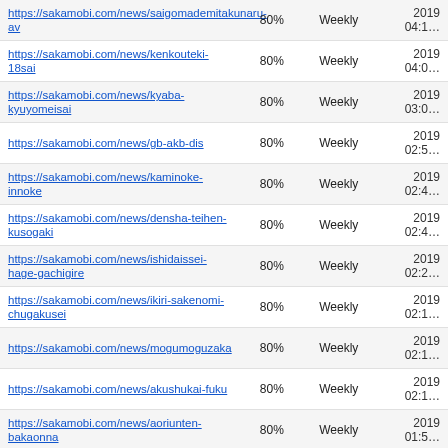| URL | Priority | Change Freq | Last Modified |
| --- | --- | --- | --- |
| https://sakamobi.com/news/saigomademitakunaru-av | 80% | Weekly | 2019 04:1… |
| https://sakamobi.com/news/kenkouteki-18sai | 80% | Weekly | 2019 04:0… |
| https://sakamobi.com/news/kyaba-kyuyomeisai | 80% | Weekly | 2019 03:0… |
| https://sakamobi.com/news/gb-akb-dis | 80% | Weekly | 2019 02:5… |
| https://sakamobi.com/news/kaminoke-innoke | 80% | Weekly | 2019 02:4… |
| https://sakamobi.com/news/densha-teihen-kusogaki | 80% | Weekly | 2019 02:4… |
| https://sakamobi.com/news/ishidaissei-hage-gachigire | 80% | Weekly | 2019 02:2… |
| https://sakamobi.com/news/ikiri-sakenomi-chugakusei | 80% | Weekly | 2019 02:1… |
| https://sakamobi.com/news/mogumoguzaka | 80% | Weekly | 2019 02:1… |
| https://sakamobi.com/news/akushukai-fuku | 80% | Weekly | 2019 02:1… |
| https://sakamobi.com/news/aoriunten-bakaonna | 80% | Weekly | 2019 01:5… |
| https://sakamobi.com/news/eromanga | 80% | Weekly | 2019 01:4… |
| https://sakamobi.com/news/jk-pricla-pose | 80% | Weekly | 2019 01:3… |
| https://sakamobi.com/news/bijin-heya | 80% | Weekly | 2019 01:2… |
| https://sakamobi.com/news/tenga-bijinkouhou | 80% | Weekly | 2019 15:3… |
| https://sakamobi.com/news/offshiwasure-haishin | 80% | Weekly | 2019 17… |